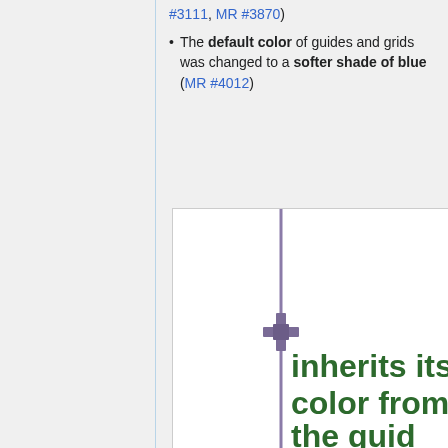#3111, MR #3870
The default color of guides and grids was changed to a softer shade of blue (MR #4012)
[Figure (illustration): A screenshot showing a vertical purple/mauve guide line with a crosshair/handle node in the middle, on a white canvas background. Below the guide line, dark green text reads 'inherits its color from the guide']